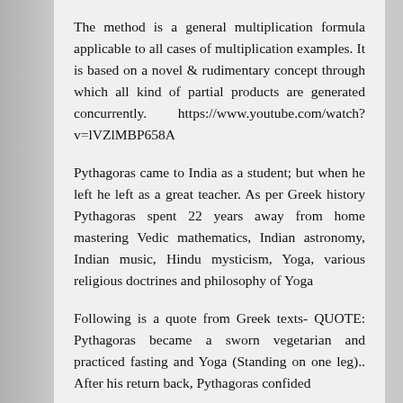The method is a general multiplication formula applicable to all cases of multiplication examples. It is based on a novel & rudimentary concept through which all kind of partial products are generated concurrently. https://www.youtube.com/watch?v=lVZlMBP658A
Pythagoras came to India as a student; but when he left he left as a great teacher. As per Greek history Pythagoras spent 22 years away from home mastering Vedic mathematics, Indian astronomy, Indian music, Hindu mysticism, Yoga, various religious doctrines and philosophy of Yoga
Following is a quote from Greek texts- QUOTE: Pythagoras became a sworn vegetarian and practiced fasting and Yoga (Standing on one leg).. After his return back, Pythagoras confided